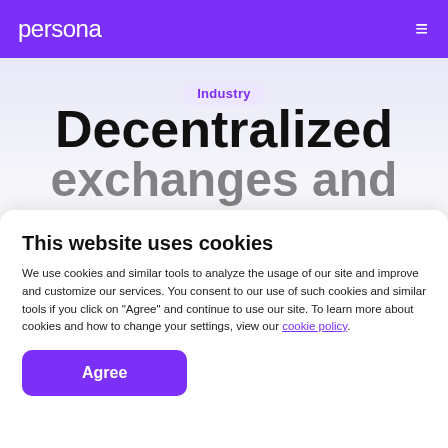persona
Industry
Decentralized exchanges and KYC
This website uses cookies
We use cookies and similar tools to analyze the usage of our site and improve and customize our services. You consent to our use of such cookies and similar tools if you click on "Agree" and continue to use our site. To learn more about cookies and how to change your settings, view our cookie policy.
Agree